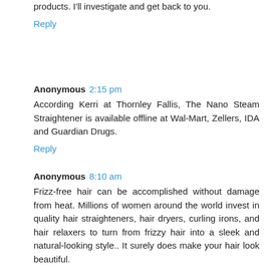products. I'll investigate and get back to you.
Reply
Anonymous 2:15 pm
According Kerri at Thornley Fallis, The Nano Steam Straightener is available offline at Wal-Mart, Zellers, IDA and Guardian Drugs.
Reply
Anonymous 8:10 am
Frizz-free hair can be accomplished without damage from heat. Millions of women around the world invest in quality hair straighteners, hair dryers, curling irons, and hair relaxers to turn from frizzy hair into a sleek and natural-looking style.. It surely does make your hair look beautiful.
Hair Straightner
Reply